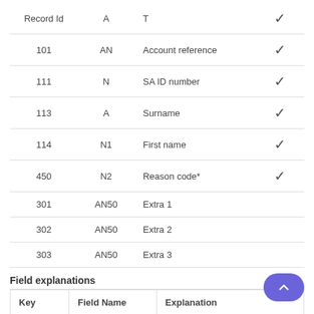|  |  |  |  |
| --- | --- | --- | --- |
| Record Id | A | T | ✓ |
| 101 | AN | Account reference | ✓ |
| 111 | N | SA ID number | ✓ |
| 113 | A | Surname | ✓ |
| 114 | N1 | First name | ✓ |
| 450 | N2 | Reason code* | ✓ |
| 301 | AN50 | Extra 1 |  |
| 302 | AN50 | Extra 2 |  |
| 303 | AN50 | Extra 3 |  |
Field explanations
| Key | Field Name | Explanation |
| --- | --- | --- |